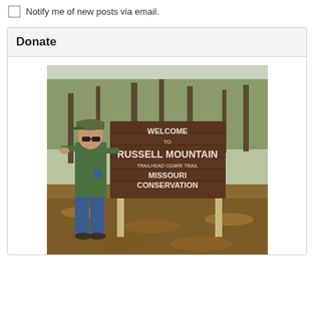Notify me of new posts via email.
Donate
[Figure (photo): A man in a green long-sleeve shirt, jeans, sunglasses, and a cap standing next to a large wooden sign that reads: WELCOME TO RUSSELL MOUNTAIN TRAILHEAD OZARK TRAIL MISSOURI CONSERVATION DEPARTMENT. The background shows bare trees and leaf-covered ground in an outdoor setting.]